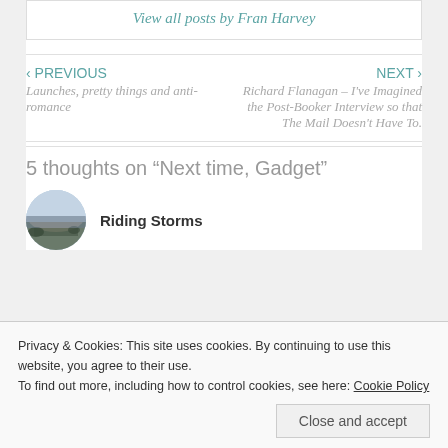View all posts by Fran Harvey
‹ PREVIOUS
Launches, pretty things and anti-romance
NEXT ›
Richard Flanagan – I've Imagined the Post-Booker Interview so that The Mail Doesn't Have To.
5 thoughts on “Next time, Gadget”
Riding Storms
Privacy & Cookies: This site uses cookies. By continuing to use this website, you agree to their use.
To find out more, including how to control cookies, see here: Cookie Policy
Close and accept